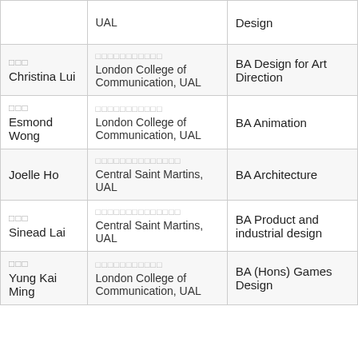| Name | Institution | Programme |
| --- | --- | --- |
| [partial] ... | UAL | Design |
| □□□
Christina Lui | □□□□□□□□□□□
London College of Communication, UAL | BA Design for Art Direction |
| □□□
Esmond Wong | □□□□□□□□□□□
London College of Communication, UAL | BA Animation |
| Joelle Ho | □□□□□□□□□□□□□□
Central Saint Martins, UAL | BA Architecture |
| □□□
Sinead Lai | □□□□□□□□□□□□□□
Central Saint Martins, UAL | BA Product and industrial design |
| □□□
Yung Kai Ming | □□□□□□□□□□□
London College of Communication, UAL | BA (Hons) Games Design |